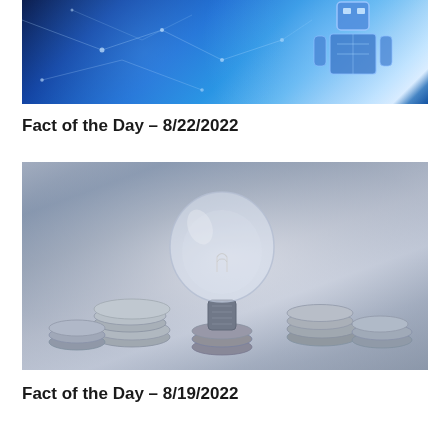[Figure (photo): Technology/AI themed image with blue digital network background and robotic figure on the right side]
Fact of the Day – 8/22/2022
[Figure (photo): Gray-toned photo of a glass light bulb balanced on a stack of coins surrounded by more coin stacks, representing energy cost or financial ideas]
Fact of the Day – 8/19/2022